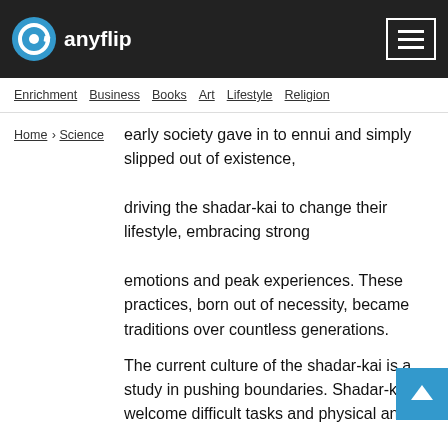anyflip
Enrichment   Business   Books   Art   Lifestyle   Religion
Home   Science
early society gave in to ennui and simply slipped out of existence, driving the shadar-kai to change their lifestyle, embracing strong emotions and peak experiences. These practices, born out of necessity, became traditions over countless generations.
The current culture of the shadar-kai is a study in pushing boundaries. Shadar-kai welcome difficult tasks and physical and emotional extremes as a way of life. They learn to channel the darkness of the Shadowfell rather than allowing that darkness to consume them. And they accept death as the inevitable end for